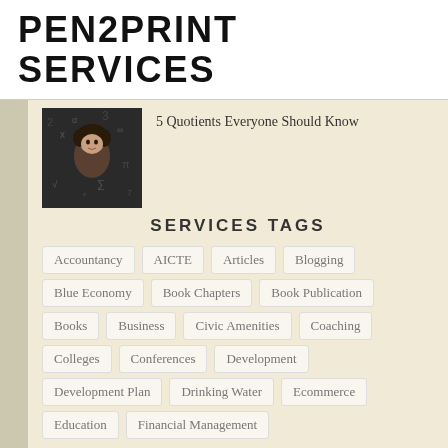PEN2PRINT SERVICES
[Figure (photo): Child lying on floor surrounded by numbers and letters, looking up at camera]
5 Quotients Everyone Should Know
SERVICES TAGS
Accountancy
AICTE
Articles
Blogging
Blue Economy
Book Chapters
Book Publication
Books
Business
Civic Amenities
Coaching
Colleges
Conferences
Development
Development Plan
Drinking Water
Ecommerce
Education
Financial Management